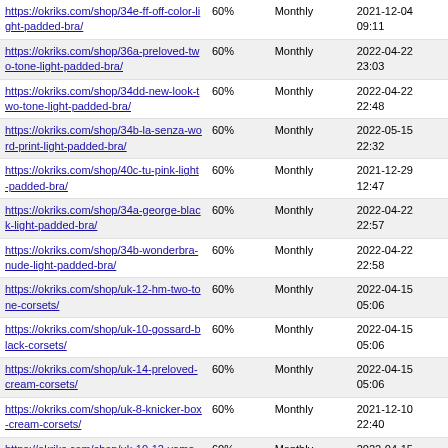| https://okriks.com/shop/34e-ff-off-color-light-padded-bra/ | 60% | Monthly | 2021-12-04 09:11 |
| https://okriks.com/shop/36a-preloved-two-tone-light-padded-bra/ | 60% | Monthly | 2022-04-22 23:03 |
| https://okriks.com/shop/34dd-new-look-two-tone-light-padded-bra/ | 60% | Monthly | 2022-04-22 22:48 |
| https://okriks.com/shop/34b-la-senza-word-print-light-padded-bra/ | 60% | Monthly | 2022-05-15 22:32 |
| https://okriks.com/shop/40c-tu-pink-light-padded-bra/ | 60% | Monthly | 2021-12-29 12:47 |
| https://okriks.com/shop/34a-george-black-light-padded-bra/ | 60% | Monthly | 2022-04-22 22:57 |
| https://okriks.com/shop/34b-wonderbra-nude-light-padded-bra/ | 60% | Monthly | 2022-04-22 22:58 |
| https://okriks.com/shop/uk-12-hm-two-tone-corsets/ | 60% | Monthly | 2022-04-15 05:06 |
| https://okriks.com/shop/uk-10-gossard-black-corsets/ | 60% | Monthly | 2022-04-15 05:06 |
| https://okriks.com/shop/uk-14-preloved-cream-corsets/ | 60% | Monthly | 2022-04-15 05:06 |
| https://okriks.com/shop/uk-8-knicker-box-cream-corsets/ | 60% | Monthly | 2021-12-10 22:40 |
| https://okriks.com/shop/uk-10-12-yamamay-cream-corsets/ | 60% | Monthly | 2022-04-15 05:06 |
| https://okriks.com/shop/uk-12-ballet-black-corsets/ | 60% | Monthly | 2022-04-15 05:06 |
| https://okriks.com/shop/uk-10-ultimo-two-color-corsets/ | 60% | Monthly | 2022-04-15 05:07 |
| https://okriks.com/shop/uk-12-preloved-two-tone-corsets/ | 60% | Monthly | 2022-08-13 17:08 |
| https://okriks.com/shop/uk-10-preloved-red-corsets/ | 60% | Monthly | 2022-04-15 05:07 |